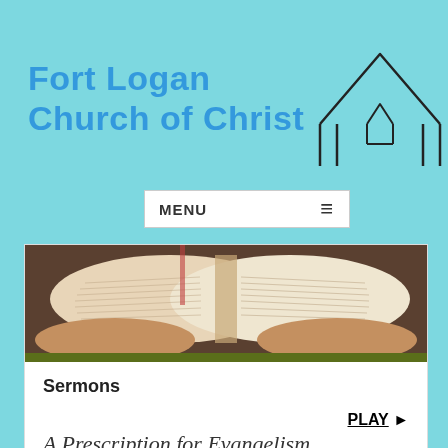Fort Logan Church of Christ
[Figure (illustration): Simple line-drawing of a house/church building outline in black on cyan background]
[Figure (other): Navigation menu bar with 'MENU' label and hamburger icon on white background]
[Figure (photo): Photo of open Bible being held by hands, warm tones]
Sermons
PLAY ▶
A Prescription for Evangelism